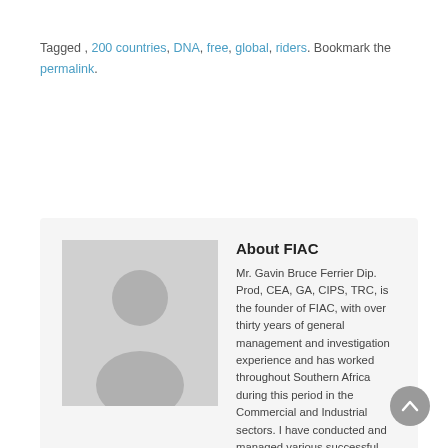Tagged , 200 countries, DNA, free, global, riders. Bookmark the permalink.
About FIAC
Mr. Gavin Bruce Ferrier Dip. Prod, CEA, GA, CIPS, TRC, is the founder of FIAC, with over thirty years of general management and investigation experience and has worked throughout Southern Africa during this period in the Commercial and Industrial sectors. I have conducted and managed various successful businesses and projects on behalf of clients across the business spectrum. I understand the importance of relationships, and how to use my gifts and passion to positively influence those I have come into contact with.